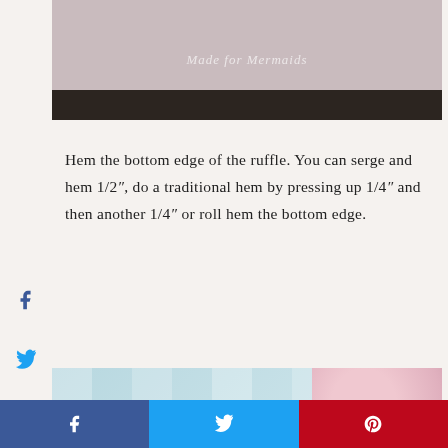[Figure (photo): Pink fabric laid out on a dark wooden floor, with a watermark reading 'Made for Mermaids']
Hem the bottom edge of the ruffle. You can serge and hem 1/2", do a traditional hem by pressing up 1/4" and then another 1/4" or roll hem the bottom edge.
[Figure (photo): Photo of a Dritz EZY-HEM gauge ruler with a pink iron and red fabric strip being hemmed on a blue-striped background]
[Figure (infographic): Social media share buttons bar at the bottom: Facebook (blue), Twitter (light blue), Pinterest (red)]